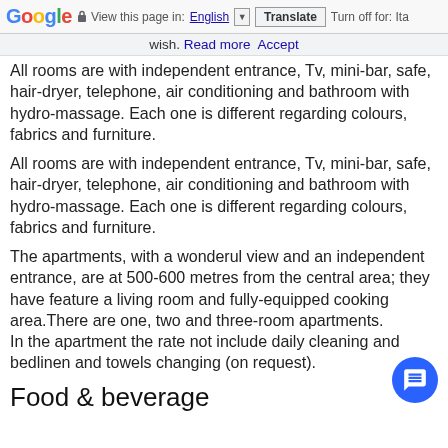Google  View this page in: English [▼]  Translate  Turn off for: Ita
wish.  Read more  Accept
All rooms are with independent entrance, Tv, mini-bar, safe, hair-dryer, telephone, air conditioning and bathroom with hydro-massage. Each one is different regarding colours, fabrics and furniture.
All rooms are with independent entrance, Tv, mini-bar, safe, hair-dryer, telephone, air conditioning and bathroom with hydro-massage. Each one is different regarding colours, fabrics and furniture.
The apartments, with a wonderul view and an independent entrance, are at 500-600 metres from the central area; they have feature a living room and fully-equipped cooking area.There are one, two and three-room apartments.
In the apartment the rate not include daily cleaning and bedlinen and towels changing (on request).
Food & beverage